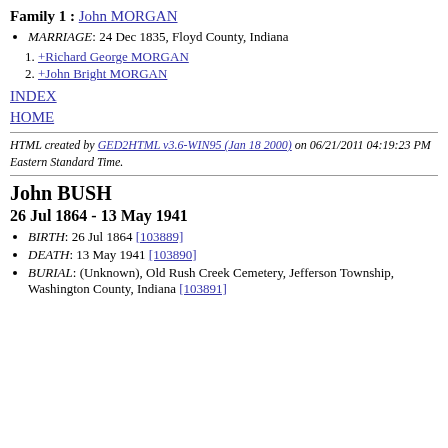Family 1 : John MORGAN
MARRIAGE: 24 Dec 1835, Floyd County, Indiana
+Richard George MORGAN
+John Bright MORGAN
INDEX
HOME
HTML created by GED2HTML v3.6-WIN95 (Jan 18 2000) on 06/21/2011 04:19:23 PM Eastern Standard Time.
John BUSH
26 Jul 1864 - 13 May 1941
BIRTH: 26 Jul 1864 [103889]
DEATH: 13 May 1941 [103890]
BURIAL: (Unknown), Old Rush Creek Cemetery, Jefferson Township, Washington County, Indiana [103891]